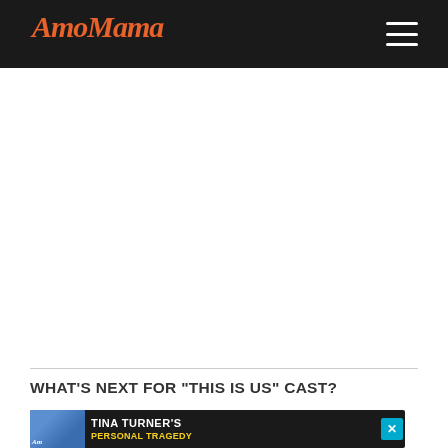AmoMama
[Figure (other): Large white advertisement/content area below the header navigation bar]
WHAT'S NEXT FOR "THIS IS US" CAST?
[Figure (infographic): Advertisement banner showing a woman (Tina Turner) with text: TINA TURNER'S PERSONAL TRAGEDY]